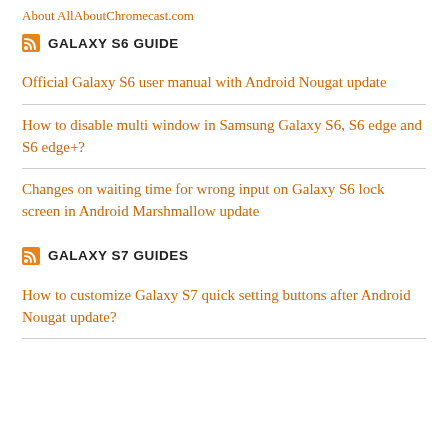About AllAboutChromecast.com
GALAXY S6 GUIDE
Official Galaxy S6 user manual with Android Nougat update
How to disable multi window in Samsung Galaxy S6, S6 edge and S6 edge+?
Changes on waiting time for wrong input on Galaxy S6 lock screen in Android Marshmallow update
GALAXY S7 GUIDES
How to customize Galaxy S7 quick setting buttons after Android Nougat update?